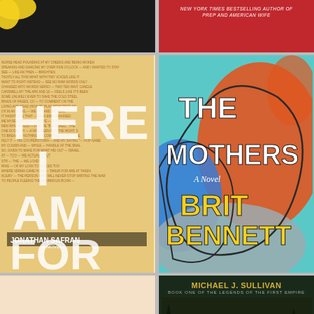[Figure (illustration): Book cover: dark background with quote 'All you can do is surrender, happily, to its power' above author name Salman Rushdie in white bold serif text]
[Figure (illustration): Book cover: red background with 'NEW YORK TIMES BESTSELLING AUTHOR OF PREP AND AMERICAN WIFE' text in white italic]
[Figure (illustration): Book cover: 'Here I Am' by Jonathan Safran Foer - dense handwritten/typographic orange and tan background with large block letters spelling HERE I AM FOR]
[Figure (illustration): Book cover: 'The Mothers' by Brit Bennett - abstract colorful shapes in teal, orange, blue, gray with bold white and yellow title text]
[Figure (illustration): Book cover: partial cover showing large bold letters 'THE' in red, yellow, and teal on a pale peach background]
[Figure (illustration): Book cover: 'Age' by Michael J. Sullivan - Book One of the Legends of the First Empire, dark green/forest background with gold title text]